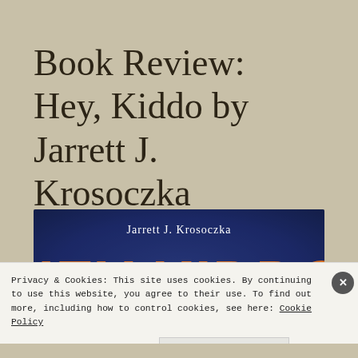Book Review: Hey, Kiddo by Jarrett J. Krosoczka
[Figure (photo): Book cover of 'Hey, Kiddo' by Jarrett J. Krosoczka. Dark blue textured background with the author name 'Jarrett J. Krosoczka' in white text at the top, and the title 'HEY KIDDO' in large orange letters at the bottom.]
Privacy & Cookies: This site uses cookies. By continuing to use this website, you agree to their use. To find out more, including how to control cookies, see here: Cookie Policy
Close and accept